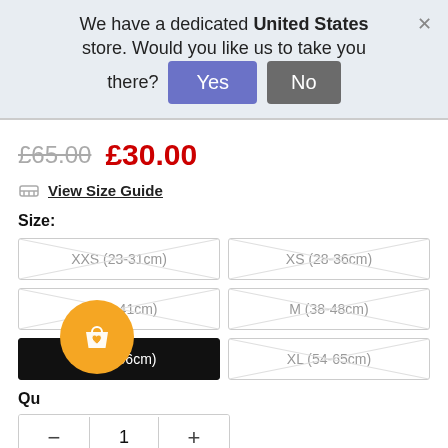We have a dedicated United States store. Would you like us to take you there?
£65.00  £30.00
View Size Guide
Size:
XXS (23-31cm)
XS (28-36cm)
S (31-41cm)
M (38-48cm)
L (45-56cm)
XL (54-65cm)
Qu
— 1 +